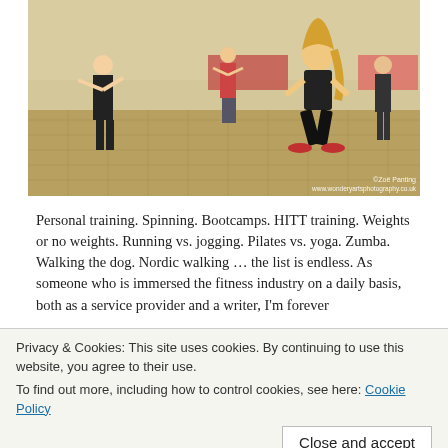[Figure (photo): Indoor fitness class in a hall with wooden floor. Multiple women exercising, some doing squats. In the foreground a blonde woman in black workout clothes squats. On the left a woman in black leads the class. Tables with items visible in background. Watermark: ©Zoë Panting www.wonderyartsphotography.co.uk]
Personal training. Spinning. Bootcamps. HITT training. Weights or no weights. Running vs. jogging. Pilates vs. yoga. Zumba. Walking the dog. Nordic walking … the list is endless. As someone who is immersed the fitness industry on a daily basis, both as a service provider and a writer, I'm forever
Privacy & Cookies: This site uses cookies. By continuing to use this website, you agree to their use.
To find out more, including how to control cookies, see here: Cookie Policy
Close and accept
Commonwealth Games or to rehabilitate a broken back, then